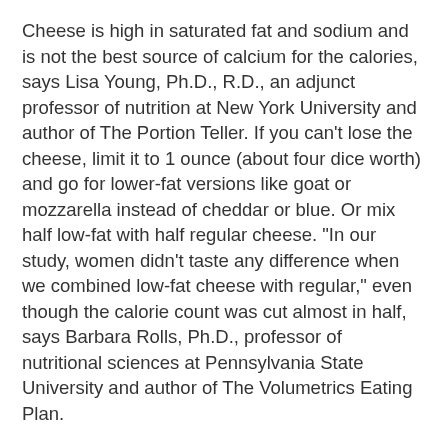Cheese is high in saturated fat and sodium and is not the best source of calcium for the calories, says Lisa Young, Ph.D., R.D., an adjunct professor of nutrition at New York University and author of The Portion Teller. If you can't lose the cheese, limit it to 1 ounce (about four dice worth) and go for lower-fat versions like goat or mozzarella instead of cheddar or blue. Or mix half low-fat with half regular cheese. "In our study, women didn't taste any difference when we combined low-fat cheese with regular," even though the calorie count was cut almost in half, says Barbara Rolls, Ph.D., professor of nutritional sciences at Pennsylvania State University and author of The Volumetrics Eating Plan.
Craving carbs? Crush three or four crackers or baked chips onto your salad. Don't sabotage a healthy meal with croutons. They're nutritional minefields, made with enriched wheat flour and drenched in oil.
Dress to Impress: Salad Dressings
Watch the serving size when you hit the dressing: Even lower...